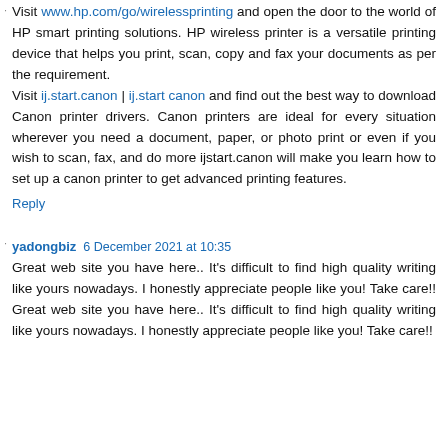Visit www.hp.com/go/wirelessprinting and open the door to the world of HP smart printing solutions. HP wireless printer is a versatile printing device that helps you print, scan, copy and fax your documents as per the requirement. Visit ij.start.canon | ij.start canon and find out the best way to download Canon printer drivers. Canon printers are ideal for every situation wherever you need a document, paper, or photo print or even if you wish to scan, fax, and do more ijstart.canon will make you learn how to set up a canon printer to get advanced printing features.
Reply
yadongbiz 6 December 2021 at 10:35
Great web site you have here.. It's difficult to find high quality writing like yours nowadays. I honestly appreciate people like you! Take care!! Great web site you have here.. It's difficult to find high quality writing like yours nowadays. I honestly appreciate people like you! Take care!!